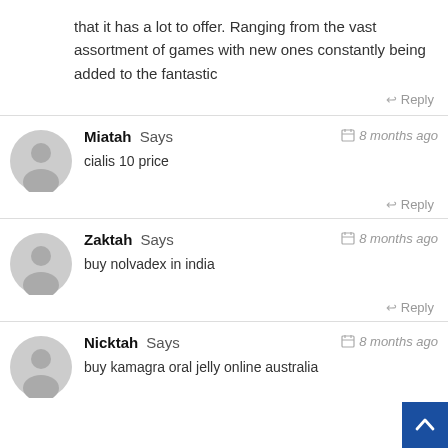that it has a lot to offer. Ranging from the vast assortment of games with new ones constantly being added to the fantastic
↩ Reply
Miatah Says — 8 months ago
cialis 10 price
↩ Reply
Zaktah Says — 8 months ago
buy nolvadex in india
↩ Reply
Nicktah Says — 8 months ago
buy kamagra oral jelly online australia
↩ Re...